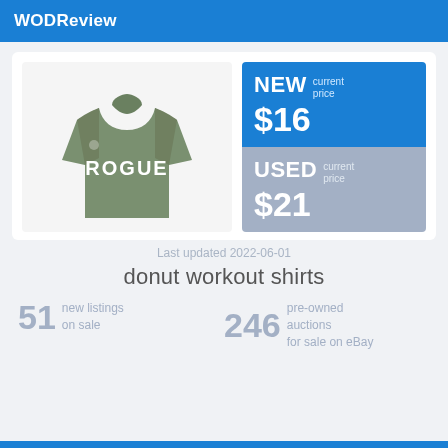WODReview
[Figure (photo): Green Rogue branded workout t-shirt displayed on white/light gray background]
NEW current price $16
USED current price $21
Last updated 2022-06-01
donut workout shirts
51 new listings on sale
246 pre-owned auctions for sale on eBay